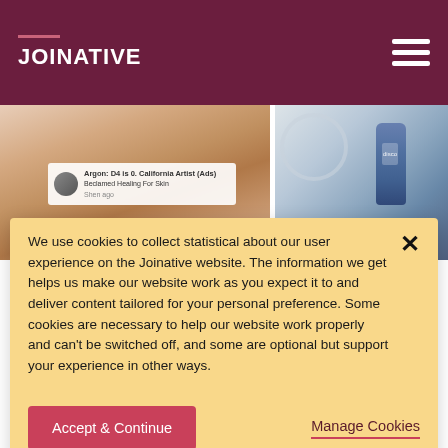JOINATIVE
[Figure (photo): Website screenshot showing a person touching their neck on the left and a skincare product bottle on the right, with a social media post overlay]
We use cookies to collect statistical about our user experience on the Joinative website. The information we get helps us make our website work as you expect it to and deliver content tailored for your personal preference. Some cookies are necessary to help our website work properly and can't be switched off, and some are optional but support your experience in other ways.
Accept & Continue
Manage Cookies